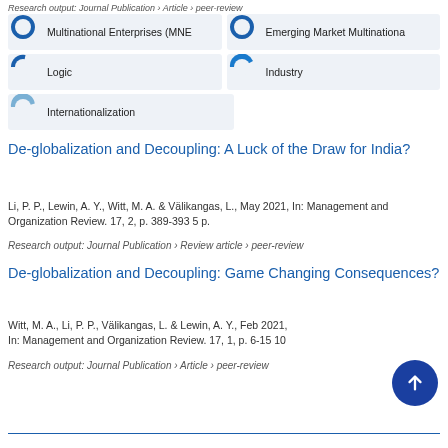Research output: Journal Publication › Article › peer-review
[Figure (infographic): Keyword relevance badges: Multinational Enterprises (MNE) ~100%, Emerging Market Multinationa... ~100%, Logic ~60%, Industry ~25%, Internationalization ~20%]
De-globalization and Decoupling: A Luck of the Draw for India?
Li, P. P., Lewin, A. Y., Witt, M. A. & Välikangas, L., May 2021, In: Management and Organization Review. 17, 2, p. 389-393 5 p.
Research output: Journal Publication › Review article › peer-review
De-globalization and Decoupling: Game Changing Consequences?
Witt, M. A., Li, P. P., Välikangas, L. & Lewin, A. Y., Feb 2021, In: Management and Organization Review. 17, 1, p. 6-15 10
Research output: Journal Publication › Article › peer-review